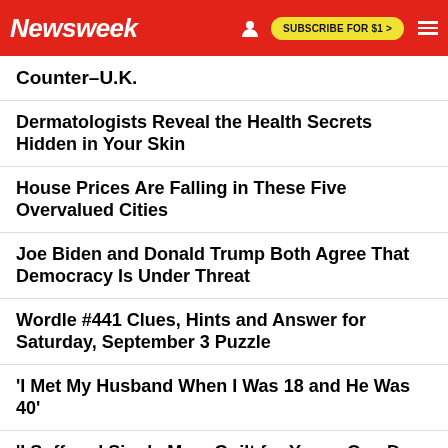Newsweek | SUBSCRIBE FOR $1 >
Counter–U.K.
Dermatologists Reveal the Health Secrets Hidden in Your Skin
House Prices Are Falling in These Five Overvalued Cities
Joe Biden and Donald Trump Both Agree That Democracy Is Under Threat
Wordle #441 Clues, Hints and Answer for Saturday, September 3 Puzzle
'I Met My Husband When I Was 18 and He Was 40'
'I Suffered Single Mom Guilt for Years, One Day Changed It All'
EDITOR'S PICK